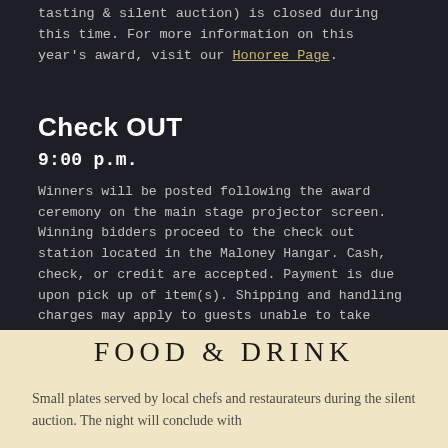tasting & silent auction) is closed during this time. For more information on this year's award, visit our Honoree Page.
Check OUT
9:00 p.m.
Winners will be posted following the award ceremony on the main stage projector screen. Winning bidders proceed to the check out station located in the Maloney Hangar. Cash, check, or credit are accepted. Payment is due upon pick up of item(s). Shipping and handling charges may apply to guests unable to take their items home that evening.
Food & Drink
Small plates served by local chefs and restaurateurs during the silent auction. The night will conclude with